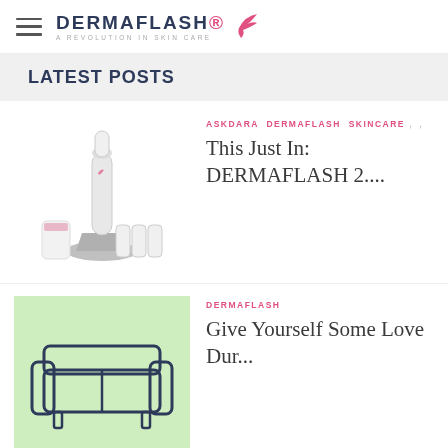DERMAFLASH A REVOLUTION IN SKIN CARE
LATEST POSTS
[Figure (photo): DERMAFLASH 2 device product photo with accessories on white background]
ASKDARA  DERMAFLASH  SKINCARE
This Just In: DERMAFLASH 2....
[Figure (illustration): Illustration of a couch/sofa on light green background]
DERMAFLASH
Give Yourself Some Love Dur...